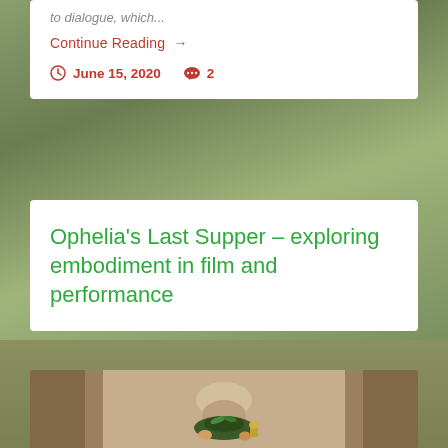to dialogue, which...
Continue Reading →
June 15, 2020   2
Ophelia's Last Supper – exploring embodiment in film and performance
[Figure (photo): Person bending over a table with food including vegetables and a bell, in a columned hallway setting]